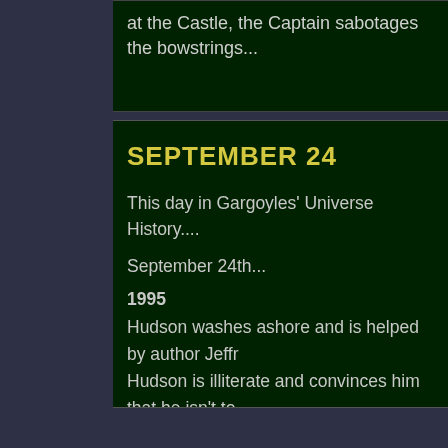at the Castle, the Captain sabotages the bowstrings...
SEPTEMBER 24
This day in Gargoyles' Universe History....
September 24th...
1995
Hudson washes ashore and is helped by author Jeffr... Hudson is illiterate and convinces him that he isn't to... Macbeth finds Hudson frozen in stone outside Robbi... The gargoyles attack Macbeth's Mansion to rescue B... But Macbeth loses interest in the Scrolls when he dis... spellbooks. He allows the gargoyles to depart with th... Elisa, who delivers them to the Museum. Hudson and... learning to read. Robbins starts work on a new book,... Merlin.